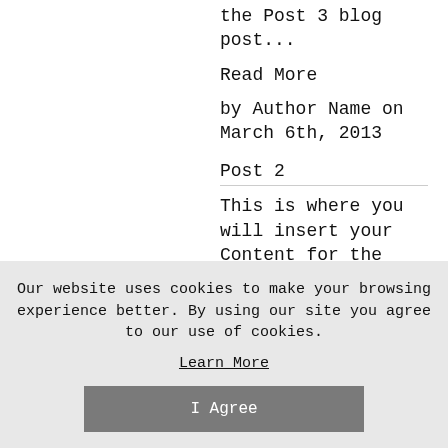the Post 3 blog post...
Read More
by Author Name on March 6th, 2013
Post 2
This is where you will insert your Content for the Post 2 blog post...
Read More
by Author Name on
Our website uses cookies to make your browsing experience better. By using our site you agree to our use of cookies.
Learn More
I Agree